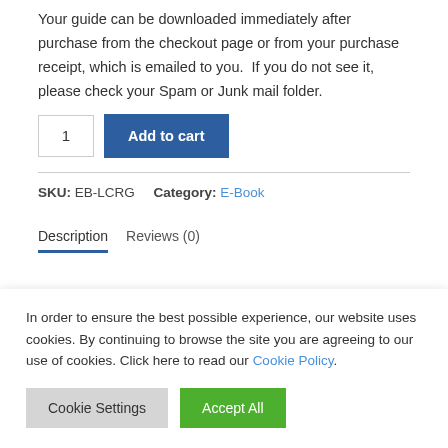Your guide can be downloaded immediately after purchase from the checkout page or from your purchase receipt, which is emailed to you.  If you do not see it, please check your Spam or Junk mail folder.
1  [Add to cart button]
SKU: EB-LCRG    Category: E-Book
Description    Reviews (0)
In order to ensure the best possible experience, our website uses cookies. By continuing to browse the site you are agreeing to our use of cookies. Click here to read our Cookie Policy.